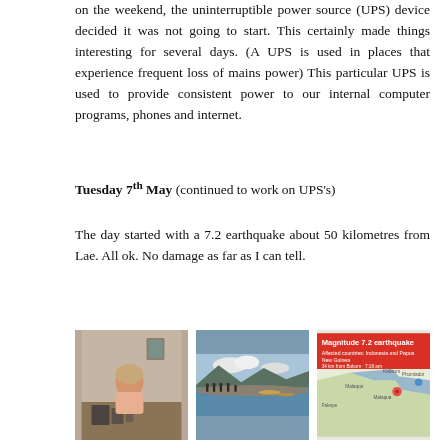on the weekend, the uninterruptible power source (UPS) device decided it was not going to start. This certainly made things interesting for several days. (A UPS is used in places that experience frequent loss of mains power) This particular UPS is used to provide consistent power to our internal computer programs, phones and internet.
Tuesday 7th May (continued to work on UPS's)
The day started with a 7.2 earthquake about 50 kilometres from Lae. All ok. No damage as far as I can tell.
[Figure (photo): Person working at a desk, appears to be doing repair or assembly work]
[Figure (photo): Waterfront scene with people gathered on a rocky shore and boats in the water, mountains in background]
[Figure (screenshot): Google Maps screenshot showing Magnitude 7.2 earthquake notification. Affected countries: Indonesia and Papua New Guinea. 34 km from Bukum · 7:19 am]